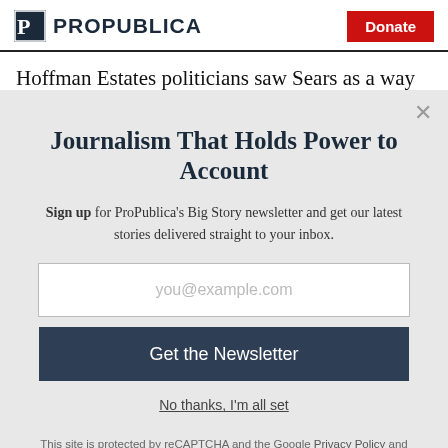ProPublica | Donate
Hoffman Estates politicians saw Sears as a way to an
Journalism That Holds Power to Account
Sign up for ProPublica's Big Story newsletter and get our latest stories delivered straight to your inbox.
you@example.com
Get the Newsletter
No thanks, I'm all set
This site is protected by reCAPTCHA and the Google Privacy Policy and Terms of Service apply.